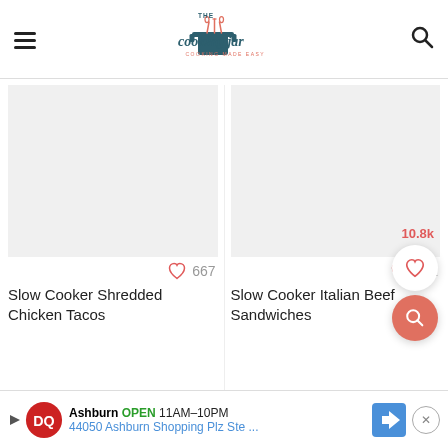The Cooking Jar — COOKING MADE EASY
[Figure (screenshot): Recipe card for Slow Cooker Shredded Chicken Tacos with 667 likes]
667
Slow Cooker Shredded Chicken Tacos
[Figure (screenshot): Recipe card for Slow Cooker Italian Beef Sandwiches with 882 likes]
882
Slow Cooker Italian Beef Sandwiches
10.8k
Ashburn  OPEN  11AM–10PM  44050 Ashburn Shopping Plz Ste ...